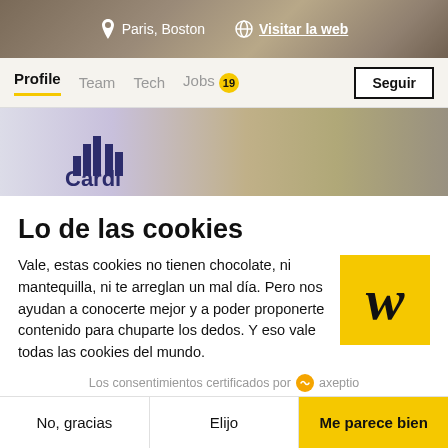[Figure (screenshot): Top navigation bar of a website showing location 'Paris, Boston' and 'Visitar la web' link on a dark background photo]
Profile  Team  Tech  Jobs 19  Seguir
[Figure (photo): Company office photo showing a logo with bar chart symbol and 'Cardist' text against a wooden slat wall background]
Lo de las cookies
Vale, estas cookies no tienen chocolate, ni mantequilla, ni te arreglan un mal día. Pero nos ayudan a conocerte mejor y a poder proponerte contenido para chuparte los dedos. Y eso vale todas las cookies del mundo.
Los consentimientos certificados por axeptio
No, gracias   Elijo   Me parece bien